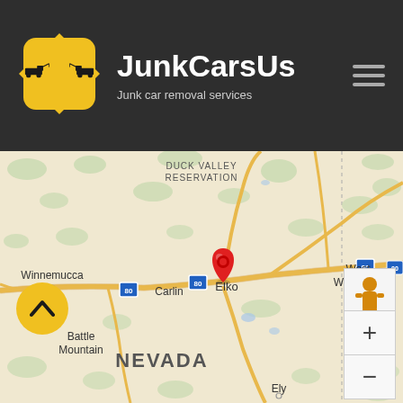[Figure (logo): JunkCarsUs logo: yellow diamond shape with black tow truck silhouettes]
JunkCarsUs
Junk car removal services
[Figure (map): Google Maps view of northern Nevada showing Elko (marked with red pin), Carlin, Winnemucca, Battle Mountain, West Wendover, Ely, Duck Valley Reservation. Interstate 80 route visible. Map shows beige terrain with green vegetation patches and yellow roads.]